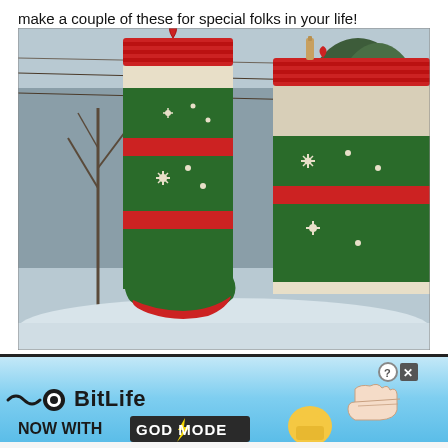make a couple of these for special folks in your life!
[Figure (photo): Two knitted Christmas stockings with red, green, and cream Fair Isle patterns hanging from a wire fence outdoors in winter. The stockings display snowflake and holly motifs. Background shows bare trees and snowy ground.]
[Figure (screenshot): Advertisement banner for BitLife app: 'NOW WITH GOD MODE' on a light blue gradient background with cartoon hands and thumbs-up emoji graphics.]